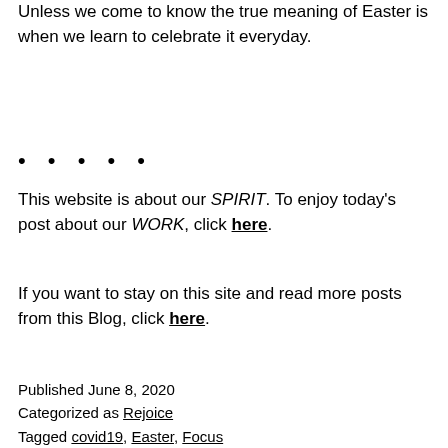Unless we come to know the true meaning of Easter is when we learn to celebrate it everyday.
• • • • •
This website is about our SPIRIT. To enjoy today's post about our WORK, click here.
If you want to stay on this site and read more posts from this Blog, click here.
Published June 8, 2020
Categorized as Rejoice
Tagged covid19, Easter, Focus